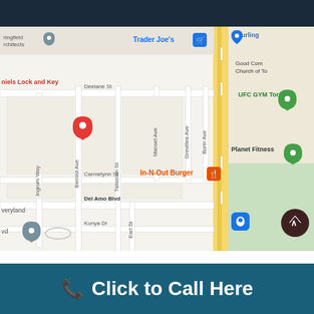[Figure (map): Google Maps screenshot showing street map of Torrance, CA area. Shows streets including Deelane St, Carmelynn St, Del Amo Blvd, Konya Dr, Ingrum Way, Bernist Ave, Talisman St, Mansel Ave, Grevillea Ave, Burin Ave, and Earl St. Landmarks visible include Trader Joe's, UFC GYM Torrance, Planet Fitness, In-N-Out Burger, Good Community Church of Torrance, Springfield Architects, Daniels Lock and Key (with red location pin), and a blue location marker at bottom right. A yellow highlighted road runs vertically on the right side. A dark red circular back button appears at bottom right.]
Click to Call Here